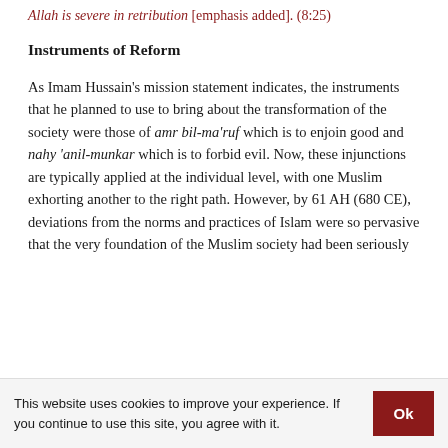Allah is severe in retribution [emphasis added]. (8:25)
Instruments of Reform
As Imam Hussain's mission statement indicates, the instruments that he planned to use to bring about the transformation of the society were those of amr bil-ma'ruf which is to enjoin good and nahy 'anil-munkar which is to forbid evil. Now, these injunctions are typically applied at the individual level, with one Muslim exhorting another to the right path. However, by 61 AH (680 CE), deviations from the norms and practices of Islam were so pervasive that the very foundation of the Muslim society had been seriously
This website uses cookies to improve your experience. If you continue to use this site, you agree with it.